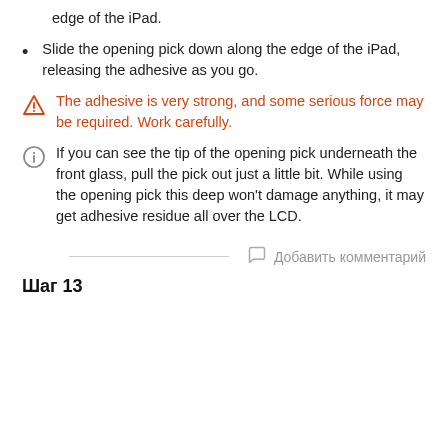edge of the iPad.
Slide the opening pick down along the edge of the iPad, releasing the adhesive as you go.
The adhesive is very strong, and some serious force may be required. Work carefully.
If you can see the tip of the opening pick underneath the front glass, pull the pick out just a little bit. While using the opening pick this deep won't damage anything, it may get adhesive residue all over the LCD.
Добавить комментарий
Шаг 13